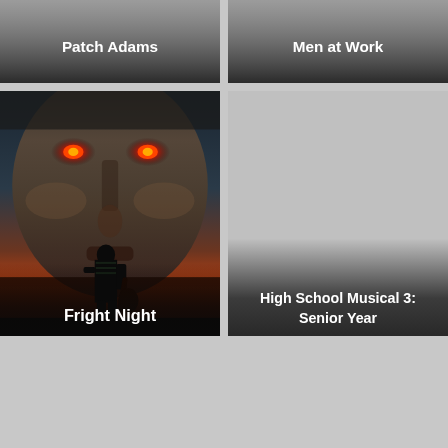[Figure (screenshot): Movie thumbnail for Patch Adams with dark gradient overlay and white bold title text]
[Figure (screenshot): Movie thumbnail for Men at Work with dark gradient overlay and white bold title text]
[Figure (photo): Fright Night movie poster showing a dark menacing face with glowing red eyes at top and a small figure of a young man with a guitar silhouetted against an orange-red sunset sky at bottom, with white bold title text overlay]
[Figure (screenshot): Movie thumbnail for High School Musical 3: Senior Year with gray placeholder image, dark gradient overlay and white bold title text]
[Figure (screenshot): Empty gray movie thumbnail placeholder, bottom left]
[Figure (screenshot): Empty gray movie thumbnail placeholder, bottom right]